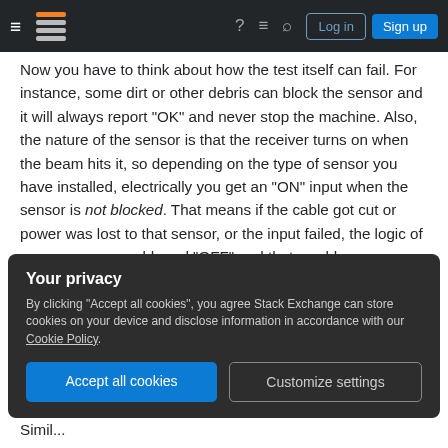Stack Exchange navigation bar with hamburger menu, logo, help, chat, search icons, Log in and Sign up buttons
Now you have to think about how the test itself can fail. For instance, some dirt or other debris can block the sensor and it will always report "OK" and never stop the machine. Also, the nature of the sensor is that the receiver turns on when the beam hits it, so depending on the type of sensor you have installed, electrically you get an "ON" input when the sensor is not blocked. That means if the cable got cut or power was lost to that sensor, or the input failed, the logic of your program would read "OFF" and that would mean "blocked" or "OK".
Your privacy
By clicking "Accept all cookies", you agree Stack Exchange can store cookies on your device and disclose information in accordance with our Cookie Policy.
Accept all cookies  Customize settings
Simil...